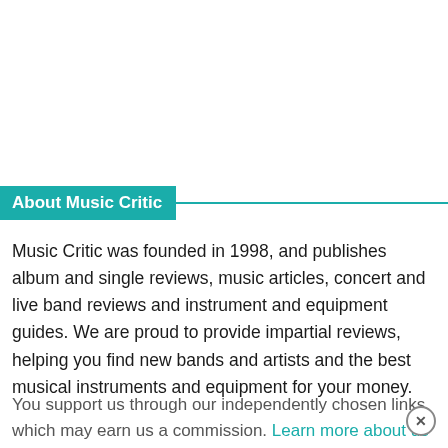About Music Critic
Music Critic was founded in 1998, and publishes album and single reviews, music articles, concert and live band reviews and instrument and equipment guides. We are proud to provide impartial reviews, helping you find new bands and artists and the best musical instruments and equipment for your money.
You support us through our independently chosen links, which may earn us a commission. Learn more about us